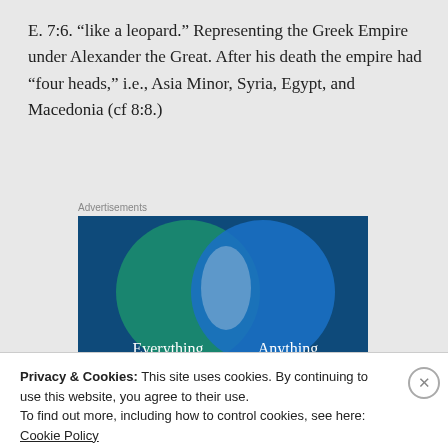E. 7:6. “like a leopard.” Representing the Greek Empire under Alexander the Great. After his death the empire had “four heads,” i.e., Asia Minor, Syria, Egypt, and Macedonia (cf 8:8.)
Advertisements
[Figure (illustration): Venn diagram advertisement showing two overlapping circles on a dark teal/blue background. Left circle labeled 'Everything', right circle labeled 'Anything', with overlapping region in lighter color.]
Privacy & Cookies: This site uses cookies. By continuing to use this website, you agree to their use.
To find out more, including how to control cookies, see here: Cookie Policy
Close and accept